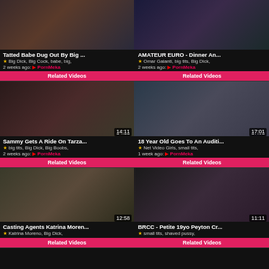[Figure (screenshot): Video thumbnail 1: Tatted Babe Dug Out By Big ...]
Tatted Babe Dug Out By Big ...
★ Big Dick, Big Cock, babe, big,
2 weeks ago: ▶ PornMeka
Related Videos
[Figure (screenshot): Video thumbnail 2: AMATEUR EURO - Dinner An...]
AMATEUR EURO - Dinner An...
★ Omar Galanti, big tits, Big Dick,
2 weeks ago: ▶ PornMeka
Related Videos
[Figure (screenshot): Video thumbnail 3: Sammy Gets A Ride On Tarza... Duration: 14:11]
Sammy Gets A Ride On Tarza...
★ big tits, Big Dick, Big Boobs,
2 weeks ago: ▶ PornMeka
Related Videos
[Figure (screenshot): Video thumbnail 4: 18 Year Old Goes To An Auditi... Duration: 17:01]
18 Year Old Goes To An Auditi...
★ Net Video Girls, small tits,
1 week ago: ▶ PornMeka
Related Videos
[Figure (screenshot): Video thumbnail 5: Casting Agents Katrina Moren... Duration: 12:58]
Casting Agents Katrina Moren...
★ Katrina Moreno, Big Dick,
Related Videos
[Figure (screenshot): Video thumbnail 6: BRCC - Petite 19yo Peyton Cr... Duration: 11:11]
BRCC - Petite 19yo Peyton Cr...
★ small tits, shaved pussy,
Related Videos